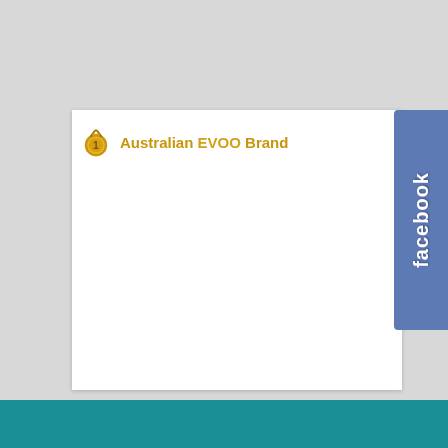[Figure (screenshot): A Facebook page screenshot showing a white card with '#1 Australian EVOO Brand' text and a gold medal/number 1 badge icon, with a blue Facebook tab on the right side, on a light grey background with a teal bar at the bottom.]